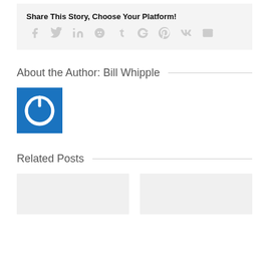Share This Story, Choose Your Platform!
[Figure (infographic): Social media sharing icons: Facebook, Twitter, LinkedIn, Reddit, Tumblr, Google+, Pinterest, VK, Email — all in light gray]
About the Author: Bill Whipple
[Figure (logo): Blue square with white power/on button icon representing Bill Whipple author avatar]
Related Posts
[Figure (photo): Two gray placeholder image cards for related posts]